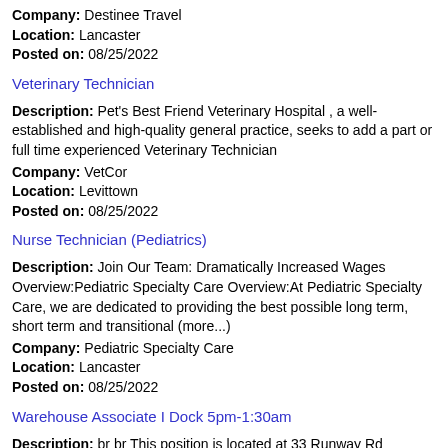Company: Destinee Travel
Location: Lancaster
Posted on: 08/25/2022
Veterinary Technician
Description: Pet's Best Friend Veterinary Hospital , a well-established and high-quality general practice, seeks to add a part or full time experienced Veterinary Technician
Company: VetCor
Location: Levittown
Posted on: 08/25/2022
Nurse Technician (Pediatrics)
Description: Join Our Team: Dramatically Increased Wages Overview:Pediatric Specialty Care Overview:At Pediatric Specialty Care, we are dedicated to providing the best possible long term, short term and transitional (more...)
Company: Pediatric Specialty Care
Location: Lancaster
Posted on: 08/25/2022
Warehouse Associate I Dock 5pm-1:30am
Description: br br This position is located at 33 Runway Rd Levittown